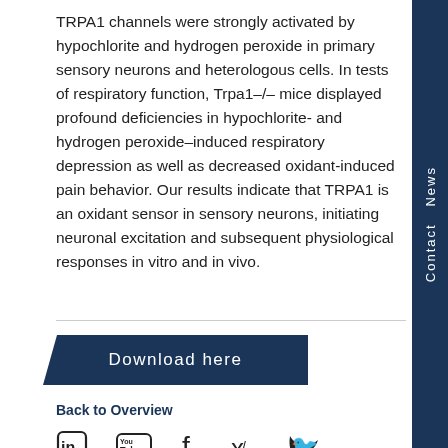TRPA1 channels were strongly activated by hypochlorite and hydrogen peroxide in primary sensory neurons and heterologous cells. In tests of respiratory function, Trpa1–/– mice displayed profound deficiencies in hypochlorite- and hydrogen peroxide–induced respiratory depression as well as decreased oxidant-induced pain behavior. Our results indicate that TRPA1 is an oxidant sensor in sensory neurons, initiating neuronal excitation and subsequent physiological responses in vitro and in vivo.
Download here
Back to Overview